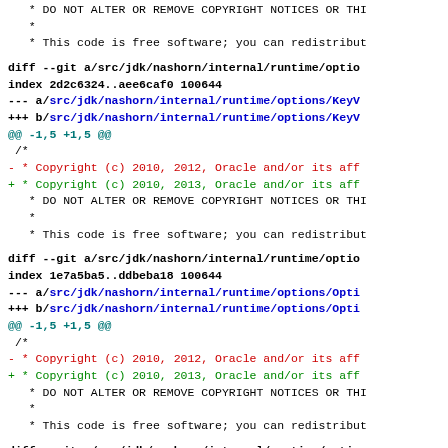DO NOT ALTER OR REMOVE COPYRIGHT NOTICES OR THI...
*
 * This code is free software; you can redistribut...
diff --git a/src/jdk/nashorn/internal/runtime/optio...
index 2d2c6324..aee6caf0 100644
--- a/src/jdk/nashorn/internal/runtime/options/KeyV...
+++ b/src/jdk/nashorn/internal/runtime/options/KeyV...
@@ -1,5 +1,5 @@
 /*
- * Copyright (c) 2010, 2012, Oracle and/or its aff...
+ * Copyright (c) 2010, 2013, Oracle and/or its aff...
   * DO NOT ALTER OR REMOVE COPYRIGHT NOTICES OR THI...
   *
   * This code is free software; you can redistribut...
diff --git a/src/jdk/nashorn/internal/runtime/optio...
index 1e7a5ba5..ddbeba18 100644
--- a/src/jdk/nashorn/internal/runtime/options/Opti...
+++ b/src/jdk/nashorn/internal/runtime/options/Opti...
@@ -1,5 +1,5 @@
 /*
- * Copyright (c) 2010, 2012, Oracle and/or its aff...
+ * Copyright (c) 2010, 2013, Oracle and/or its aff...
   * DO NOT ALTER OR REMOVE COPYRIGHT NOTICES OR THI...
   *
   * This code is free software; you can redistribut...
diff --git a/src/jdk/nashorn/internal/runtime/optio...
index 4d5f25dc..82b6edbc 100644
--- a/src/jdk/nashorn/internal/runtime/options/Opti...